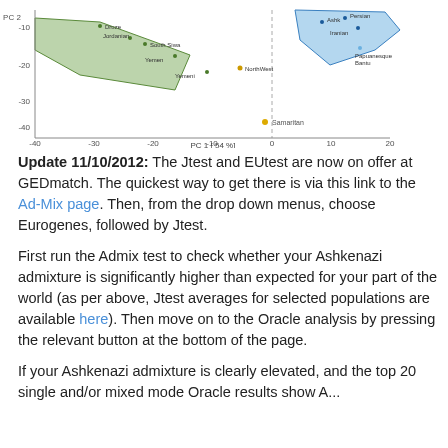[Figure (continuous-plot): PCA scatter plot (partial, top portion visible) showing PC1 (54%) on x-axis ranging from about -40 to 20, and PC2 on y-axis. Shows green polygon region on left, blue polygon region on upper right, and scattered labeled data points for various populations. A yellow point labeled 'Samaritan' appears near bottom center.]
Update 11/10/2012: The Jtest and EUtest are now on offer at GEDmatch. The quickest way to get there is via this link to the Ad-Mix page. Then, from the drop down menus, choose Eurogenes, followed by Jtest.
First run the Admix test to check whether your Ashkenazi admixture is significantly higher than expected for your part of the world (as per above, Jtest averages for selected populations are available here). Then move on to the Oracle analysis by pressing the relevant button at the bottom of the page.
If your Ashkenazi admixture is clearly elevated, and the top 20 single and/or mixed mode Oracle results show A...